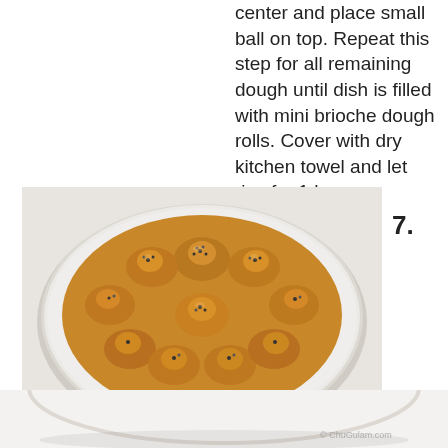center and place small ball on top. Repeat this step for all remaining dough until dish is filled with mini brioche dough rolls. Cover with dry kitchen towel and let rise for 1 hour.
7.
[Figure (photo): A round baking dish filled with golden brioche rolls arranged in a circular pattern, topped with poppy seeds and other seeds, baked to a deep golden-brown color.]
[Figure (photo): Bottom portion of the same brioche rolls dish showing the circular white baking dish on a white surface, partially cut off at bottom of page.]